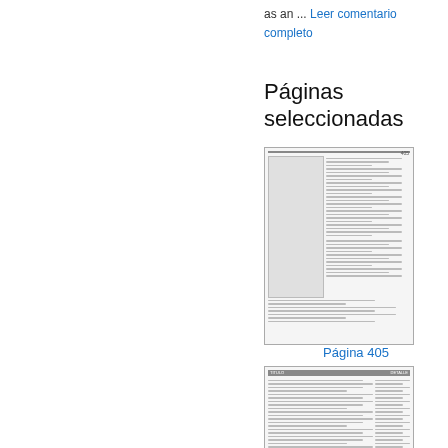as an ... Leer comentario completo
Páginas seleccionadas
[Figure (other): Thumbnail of document page 405]
Página 405
[Figure (other): Thumbnail of a second document page]